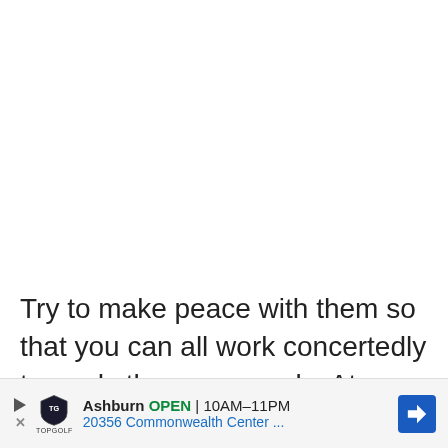Try to make peace with them so that you can all work concertedly towards the same goals. At times, you have to eat the humble pie for the same of the bigger picture.
[Figure (other): Advertisement banner for Topgolf Ashburn showing logo, open status, hours 10AM-11PM, address 20356 Commonwealth Center, and a blue navigation arrow icon]